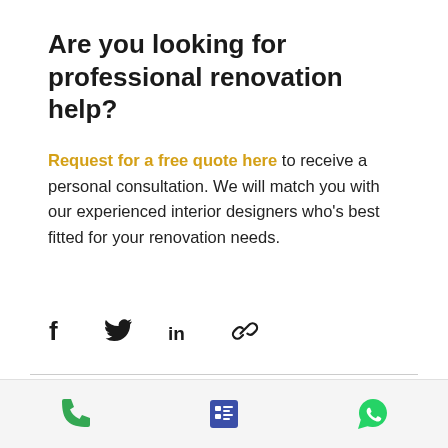Are you looking for professional renovation help?
Request for a free quote here to receive a personal consultation. We will match you with our experienced interior designers who's best fitted for your renovation needs.
[Figure (other): Social share icons: Facebook, Twitter, LinkedIn, and link/chain icon]
[Figure (other): Scroll-to-top button: gold circle with upward chevron]
[Figure (other): Bottom navigation bar with phone icon (green), list/menu icon (dark blue), and WhatsApp icon (green)]